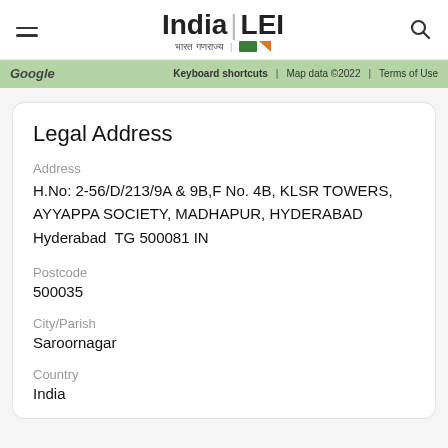India LEI — भारत गणराज्य
[Figure (screenshot): Google Maps partial view with map bar showing Google logo, Keyboard shortcuts, Map data ©2022, Terms of Use]
Legal Address
Address
H.No: 2-56/D/213/9A & 9B,F No. 4B, KLSR TOWERS, AYYAPPA SOCIETY, MADHAPUR, HYDERABAD Hyderabad TG 500081 IN
Postcode
500035
City/Parish
Saroornagar
Country
India